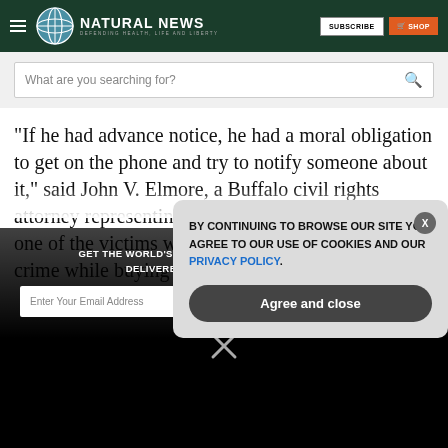Natural News — DEFENDING HEALTH, LIFE AND LIBERTY
What are you searching for?
“If he had advance notice, he had a moral obligation to get on the phone and try to notify someone about it,” said John V. Elmore, a Buffalo civil rights attorney representing the family of Andre Mackniel, one of the victims who died at the scene of the crime while buying a birthday cake for his
GET THE WORLD'S BEST NATURAL HEALTH NEWSLETTER DELIVERED STRAIGHT TO YOUR INBOX
BY CONTINUING TO BROWSE OUR SITE YOU AGREE TO OUR USE OF COOKIES AND OUR PRIVACY POLICY.
Agree and close